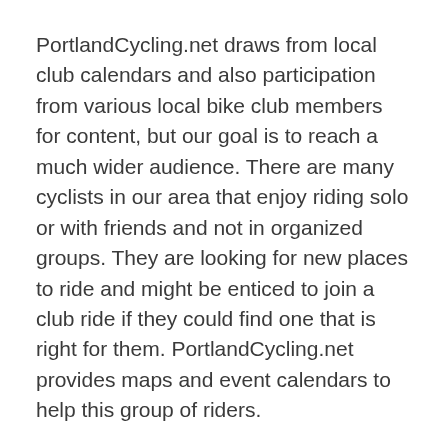PortlandCycling.net draws from local club calendars and also participation from various local bike club members for content, but our goal is to reach a much wider audience. There are many cyclists in our area that enjoy riding solo or with friends and not in organized groups. They are looking for new places to ride and might be enticed to join a club ride if they could find one that is right for them. PortlandCycling.net provides maps and event calendars to help this group of riders.
Bike commuters are another audience – folks who take on cycling as part of their lifestyle, in addition to their leisure time activity. I am not personally a bike commuter, but I hope to find some folks quickly who can provide some resources/content